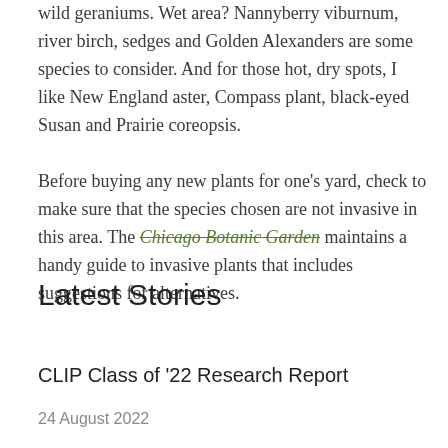wild geraniums. Wet area? Nannyberry viburnum, river birch, sedges and Golden Alexanders are some species to consider. And for those hot, dry spots, I like New England aster, Compass plant, black-eyed Susan and Prairie coreopsis.
Before buying any new plants for one's yard, check to make sure that the species chosen are not invasive in this area. The Chicago Botanic Garden maintains a handy guide to invasive plants that includes suggestions for alternatives.
Latest Stories
CLIP Class of '22 Research Report
24 August 2022